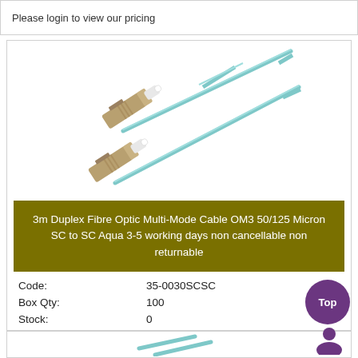Please login to view our pricing
[Figure (photo): Duplex fibre optic SC to SC cables with aqua jackets, showing four SC connectors with beige/tan housings and white ceramic ferrules, cables running diagonally]
3m Duplex Fibre Optic Multi-Mode Cable OM3 50/125 Micron SC to SC Aqua 3-5 working days non cancellable non returnable
Code: 35-0030SCSC
Box Qty: 100
Stock: 0
Please login to view our pricing